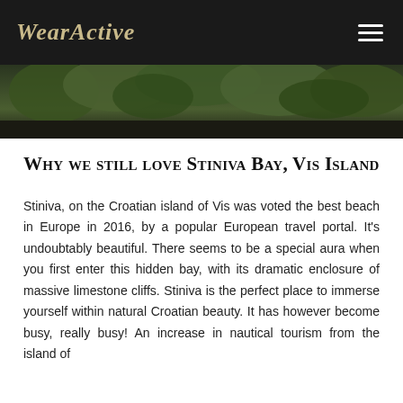WearActive
[Figure (photo): Green foliage / nature hero banner image at top of article page]
Why we still love Stiniva Bay, Vis Island
Stiniva, on the Croatian island of Vis was voted the best beach in Europe in 2016, by a popular European travel portal. It's undoubtably beautiful. There seems to be a special aura when you first enter this hidden bay, with its dramatic enclosure of massive limestone cliffs. Stiniva is the perfect place to immerse yourself within natural Croatian beauty. It has however become busy, really busy! An increase in nautical tourism from the island of